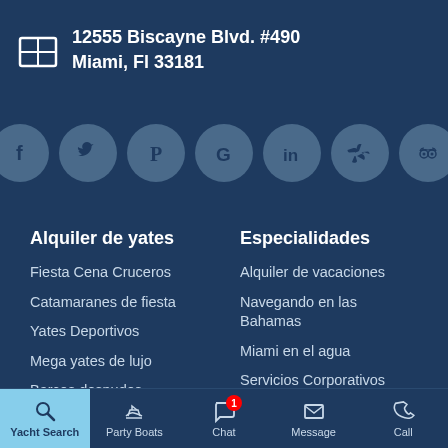12555 Biscayne Blvd. #490
Miami, Fl 33181
[Figure (infographic): Social media icon circles: Facebook, Twitter, Pinterest, Google, LinkedIn, Yelp, TripAdvisor]
Alquiler de yates
Fiesta Cena Cruceros
Catamaranes de fiesta
Yates Deportivos
Mega yates de lujo
Barcos desnudos
Botes de pesca
Búsqueda de yates
Especialidades
Alquiler de vacaciones
Navegando en las Bahamas
Miami en el agua
Servicios Corporativos
Bodas de yates de lujo
Bodas Gay
Yacht Search | Party Boats | Chat | Message | Call